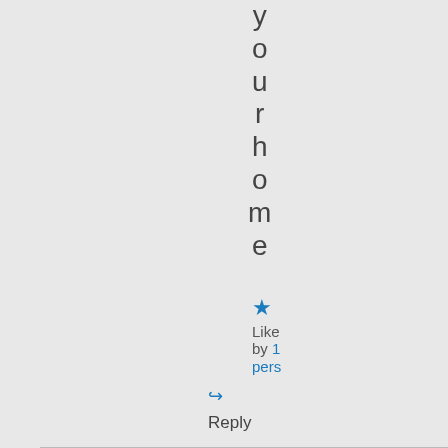your home
Like by 1 person
Reply